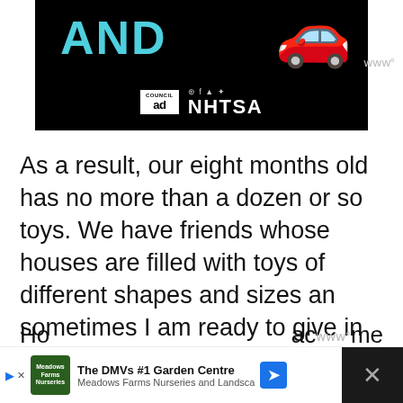[Figure (screenshot): Ad banner on black background showing 'AND' in teal text with a red car emoji, and Ad Council / NHTSA logos at bottom]
As a result, our eight months old has no more than a dozen or so toys. We have friends whose houses are filled with toys of different shapes and sizes an sometimes I am ready to give in and buy some for my son, just like everybody else. Because he deserves the best, right? A♥, from the point of view of an adult man the best is the same with a lot.
[Figure (screenshot): Bottom advertisement banner: Meadows Farms Nurseries and Landscape - The DMVs #1 Garden Centre, with play button, close X, navigation arrow, and dark right panel with X icon]